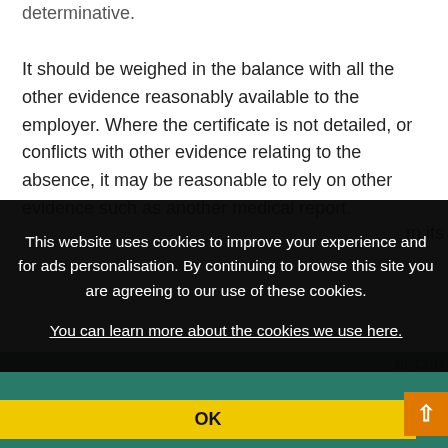determinative.
It should be weighed in the balance with all the other evidence reasonably available to the employer. Where the certificate is not detailed, or conflicts with other evidence relating to the absence, it may be reasonable to rely on other evidence such as another medical report.
...m its
...er can
[Figure (screenshot): Cookie consent overlay with black background. Text: 'This website uses cookies to improve your experience and for ads personalisation. By continuing to browse this site you are agreeing to our use of these cookies. You can learn more about the cookies we use here.' With OK button in yellow bar.]
OK